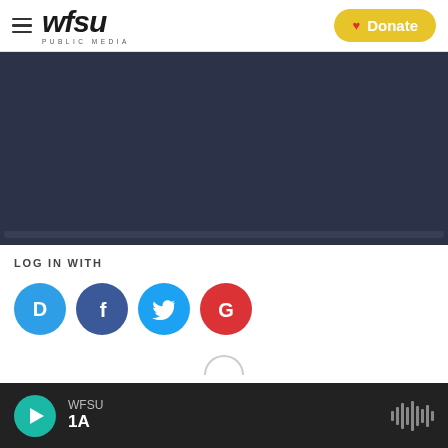[Figure (logo): WFSU Public Media logo with hamburger menu icon on left and yellow Donate button on right]
[Figure (screenshot): Dark navy blue video/media player area, blank content]
LOG IN WITH
[Figure (infographic): Four social login icons: Disqus (blue D), Facebook (dark blue F), Twitter (light blue bird), Google (red G)]
[Figure (screenshot): Bottom audio player bar: teal play button, WFSU station label, 1A show name, waveform icon on right]